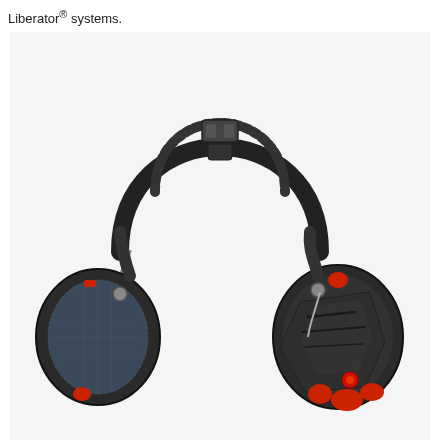Liberator® systems.
[Figure (photo): Black tactical electronic hearing protection earmuffs (Liberator brand) with red accents on the ear cups and red volume/control knobs. The headset has a padded adjustable headband and ear cup mounts with metal yokes. The left ear cup shows a mesh/fabric surface while the right ear cup shows the outer housing with red control buttons.]